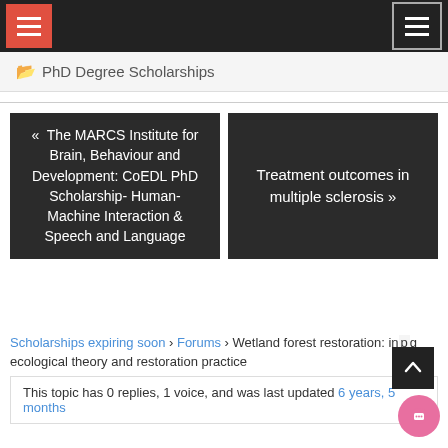PhD Degree Scholarships
« The MARCS Institute for Brain, Behaviour and Development: CoEDL PhD Scholarship- Human-Machine Interaction & Speech and Language
Treatment outcomes in multiple sclerosis »
Scholarships expiring soon › Forums › Wetland forest restoration: integrating ecological theory and restoration practice
This topic has 0 replies, 1 voice, and was last updated 6 years, 5 months